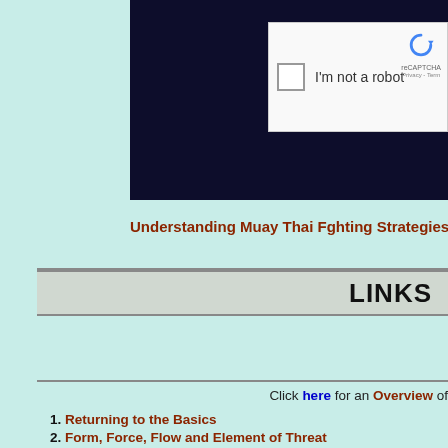[Figure (screenshot): reCAPTCHA widget on dark navy background with checkbox and 'I'm not a robot' text]
Understanding Muay Thai Fghting Strategies and Tec
LINKS
Click here for an Overview of
1. Returning to the Basics
2. Form, Force, Flow and Element of Threat
3. Reviewing the Basic Combat Sequences
4. Devising Strategies Using Combat Sequences